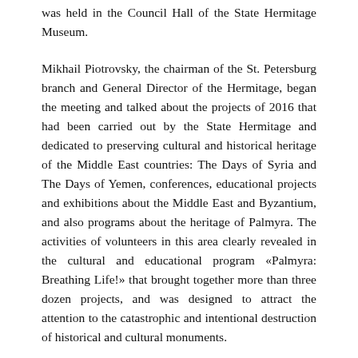was held in the Council Hall of the State Hermitage Museum.
Mikhail Piotrovsky, the chairman of the St. Petersburg branch and General Director of the Hermitage, began the meeting and talked about the projects of 2016 that had been carried out by the State Hermitage and dedicated to preserving cultural and historical heritage of the Middle East countries: The Days of Syria and The Days of Yemen, conferences, educational projects and exhibitions about the Middle East and Byzantium, and also programs about the heritage of Palmyra. The activities of volunteers in this area clearly revealed in the cultural and educational program «Palmyra: Breathing Life!» that brought together more than three dozen projects, and was designed to attract the attention to the catastrophic and intentional destruction of historical and cultural monuments.